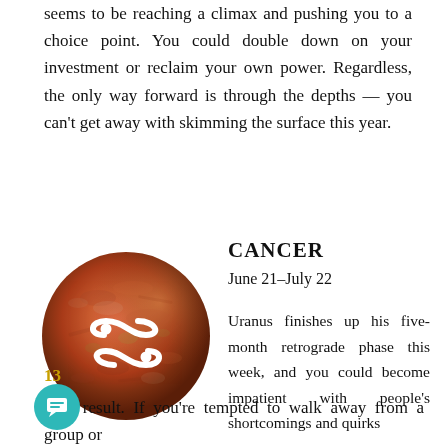seems to be reaching a climax and pushing you to a choice point. You could double down on your investment or reclaim your own power. Regardless, the only way forward is through the depths — you can't get away with skimming the surface this year.
CANCER
June 21–July 22
[Figure (photo): A circular stone or mineral with reddish-orange coloring and a white Cancer zodiac symbol (two curved spirals) overlaid on it.]
Uranus finishes up his five-month retrograde phase this week, and you could become impatient with people's shortcomings and quirks as a result. If you're tempted to walk away from a group or
13